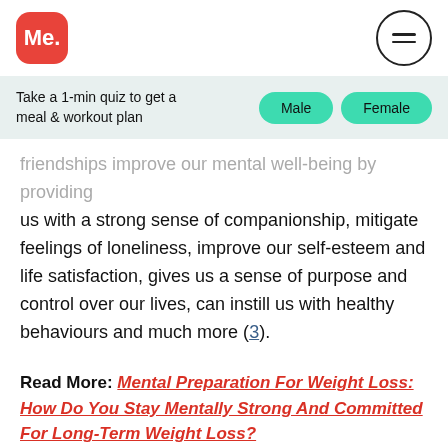Me.
Take a 1-min quiz to get a meal & workout plan
friendships improve our mental well-being by providing us with a strong sense of companionship, mitigate feelings of loneliness, improve our self-esteem and life satisfaction, gives us a sense of purpose and control over our lives, can instill us with healthy behaviours and much more (3).
Read More: Mental Preparation For Weight Loss: How Do You Stay Mentally Strong And Committed For Long-Term Weight Loss?